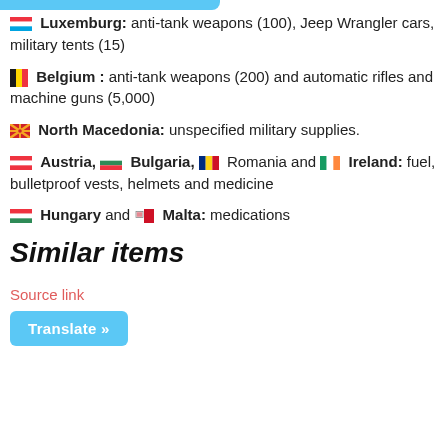Luxemburg: anti-tank weapons (100), Jeep Wrangler cars, military tents (15)
Belgium : anti-tank weapons (200) and automatic rifles and machine guns (5,000)
North Macedonia: unspecified military supplies.
Austria, Bulgaria, Romania and Ireland: fuel, bulletproof vests, helmets and medicine
Hungary and Malta: medications
Similar items
Source link
Translate »